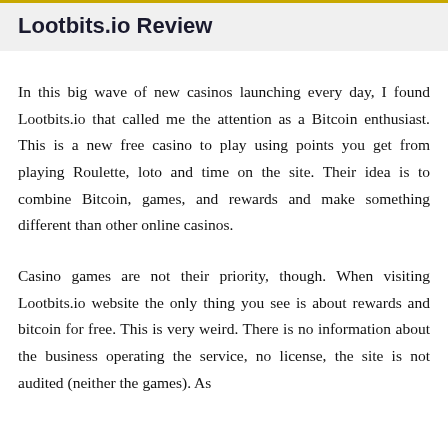Lootbits.io Review
In this big wave of new casinos launching every day, I found Lootbits.io that called me the attention as a Bitcoin enthusiast. This is a new free casino to play using points you get from playing Roulette, loto and time on the site. Their idea is to combine Bitcoin, games, and rewards and make something different than other online casinos.
Casino games are not their priority, though. When visiting Lootbits.io website the only thing you see is about rewards and bitcoin for free. This is very weird. There is no information about the business operating the service, no license, the site is not audited (neither the games). As